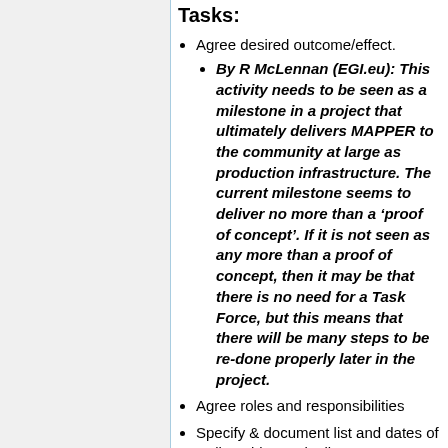Tasks:
Agree desired outcome/effect.
By R McLennan (EGI.eu): This activity needs to be seen as a milestone in a project that ultimately delivers MAPPER to the community at large as production infrastructure. The current milestone seems to deliver no more than a ‘proof of concept’. If it is not seen as any more than a proof of concept, then it may be that there is no need for a Task Force, but this means that there will be many steps to be re-done properly later in the project.
Agree roles and responsibilities
Specify & document list and dates of Deliverables and milestones